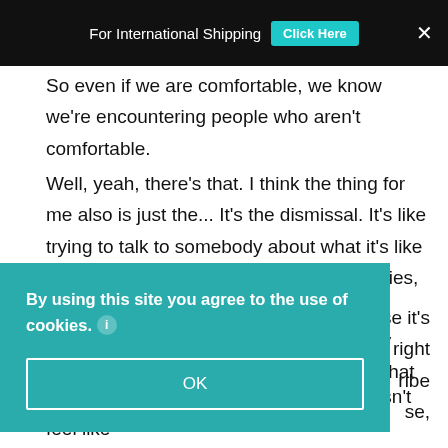For International Shipping  Click Here  ×
So even if we are comfortable, we know we're encountering people who aren't comfortable.
Well, yeah, there's that. I think the thing for me also is just the... It's the dismissal. It's like trying to talk to somebody about what it's like to have allergies who doesn't have allergies, right? That it can be like that experience, where you're sitting here saying, "My hay fever feels like this?" Well, for someone that has never had hay fever, they
se it's right ribe se,
By using this site you agree to the use of cookies.
OK
that's a very unique feeling, right? It doesn't feel like